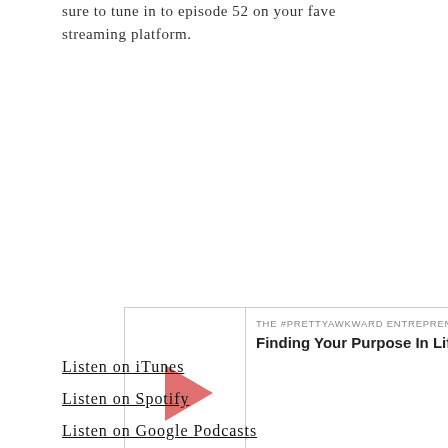sure to tune in to episode 52 on your fave streaming platform.
[Figure (screenshot): Embedded podcast player widget showing episode 'Finding Your Purpose In Lif...' from THE #PRETTYAWKWARD ENTREPRENEUR podcast. Shows play button (pink triangle), timestamp 00:00:00 in pink, and control icons for cast, download, embed code, and share.]
Listen on iTunes
Listen on Spotify
Listen on Google Podcasts